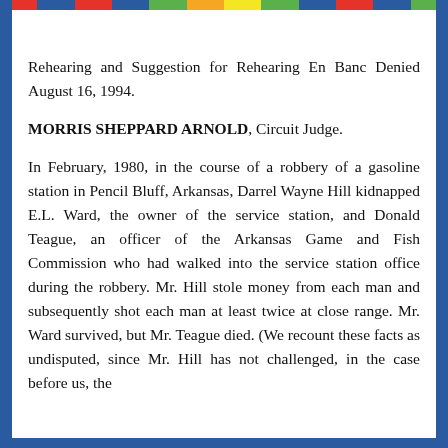Rehearing and Suggestion for Rehearing En Banc Denied August 16, 1994.
MORRIS SHEPPARD ARNOLD, Circuit Judge.
In February, 1980, in the course of a robbery of a gasoline station in Pencil Bluff, Arkansas, Darrel Wayne Hill kidnapped E.L. Ward, the owner of the service station, and Donald Teague, an officer of the Arkansas Game and Fish Commission who had walked into the service station office during the robbery. Mr. Hill stole money from each man and subsequently shot each man at least twice at close range. Mr. Ward survived, but Mr. Teague died. (We recount these facts as undisputed, since Mr. Hill has not challenged, in the case before us, the